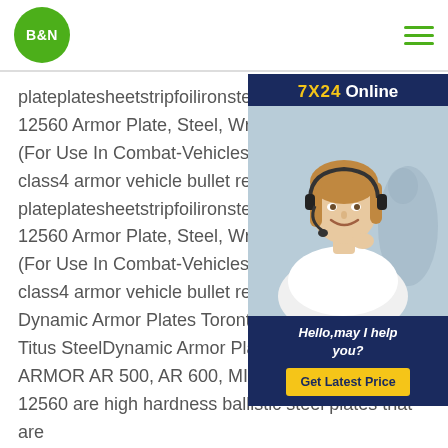B&N
[Figure (photo): Customer service representative advertisement widget with '7X24 Online' header, photo of smiling woman with headset, 'Hello, may I help you?' text, and 'Get Latest Price' yellow button]
plateplatesheetstripfoilironsteel.emilspe... 12560 Armor Plate, Steel, Wrought, Ho... (For Use In Combat-Vehicles And For M... class4 armor vehicle bullet resistant plateplatesheetstripfoilironsteel.emilspe... 12560 Armor Plate, Steel, Wrought, Ho... (For Use In Combat-Vehicles And For C... class4 armor vehicle bullet resistant plate images Dynamic Armor Plates Toronto, Mississauga ON Titus SteelDynamic Armor Plates. DYNAMIC ARMOR AR 500, AR 600, MIL-DTL 46100, MIL-A-12560 are high hardness ballistic steel plates that are available in thickness from 1/8 (3mm) through 3